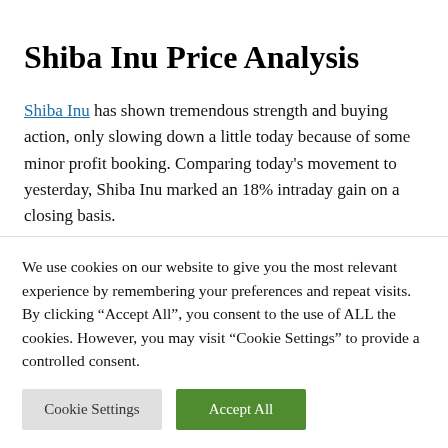Shiba Inu Price Analysis
Shiba Inu has shown tremendous strength and buying action, only slowing down a little today because of some minor profit booking. Comparing today's movement to yesterday, Shiba Inu marked an 18% intraday gain on a closing basis.
[Figure (photo): Placeholder image labeled 'Shiba Inu Price Analysis']
Shiba Inu broke out of its smaller trading range on
We use cookies on our website to give you the most relevant experience by remembering your preferences and repeat visits. By clicking “Accept All”, you consent to the use of ALL the cookies. However, you may visit “Cookie Settings” to provide a controlled consent.